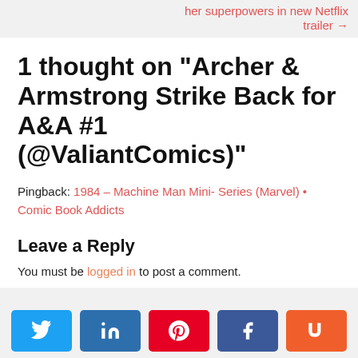her superpowers in new Netflix trailer →
1 thought on “Archer & Armstrong Strike Back for A&A #1 (@ValiantComics)”
Pingback: 1984 – Machine Man Mini- Series (Marvel) • Comic Book Addicts
Leave a Reply
You must be logged in to post a comment.
0 SHARES